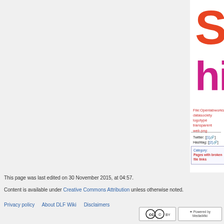[Figure (logo): Studio historypin logo — 'STVDIO' in red block letters, 'historypin' in magenta and grey]
File:Openlabworkshop/logo-datasociety logotype transparent web.png
Twitter: [[1]] Hashtag: [[2]]
Category: Pages with broken file links
This page was last edited on 30 November 2015, at 04:57.
Content is available under Creative Commons Attribution unless otherwise noted.
Privacy policy   About DLF Wiki   Disclaimers